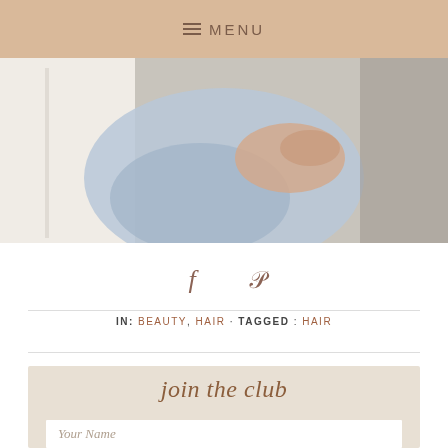≡ MENU
[Figure (photo): Partial view of a person's lower body wearing light blue jeans, with a hand resting on their knee, light background]
[Figure (infographic): Social share icons: Facebook (f) and Pinterest (P) in brownish-rose color]
IN: BEAUTY, HAIR · TAGGED : HAIR
join the club
Your Name